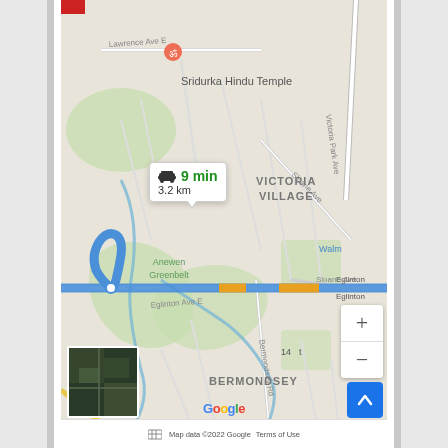[Figure (map): Google Maps screenshot showing a driving route along Eglinton Ave E in Toronto, Ontario. Map shows Sridurka Hindu Temple, Victoria Village neighborhood, Anewen Greenbelt, and Bermondsey area. A route is highlighted in blue with orange traffic segments along Eglinton Ave E. A route info bubble shows '9 min / 3.2 km'. Map includes zoom controls (+/-), a back-to-top blue button, satellite thumbnail, and Google branding. Footer shows 'Map data ©2022 Google' and 'Terms of Use'.]